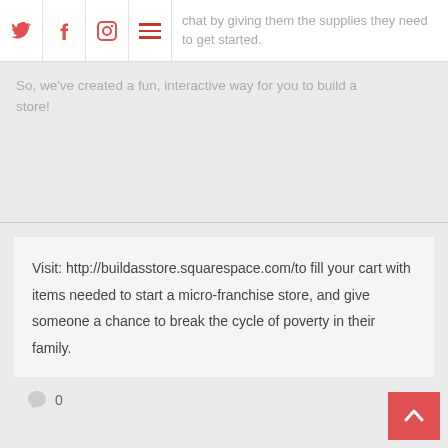chat by giving them the supplies they need to get started.
So, we've created a fun, interactive way for you to build a store!
Visit: http://buildasstore.squarespace.com/to fill your cart with items needed to start a micro-franchise store, and give someone a chance to break the cycle of poverty in their family.
0